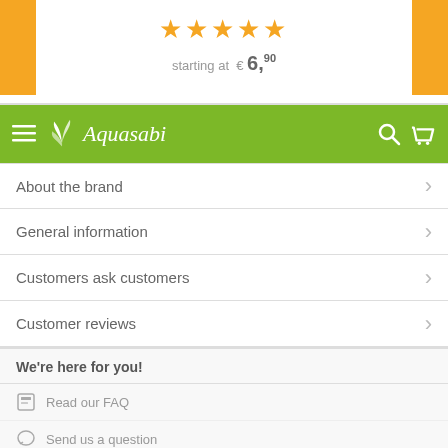[Figure (other): Five orange/yellow star rating icons centered on white background with yellow side bars]
starting at € 6,90
[Figure (logo): Aquasabi green navigation bar with hamburger menu, plant logo, brand name in italic, search and cart icons]
About the brand
General information
Customers ask customers
Customer reviews
We're here for you!
Read our FAQ
Send us a question
yoohoo@aquasabi.com